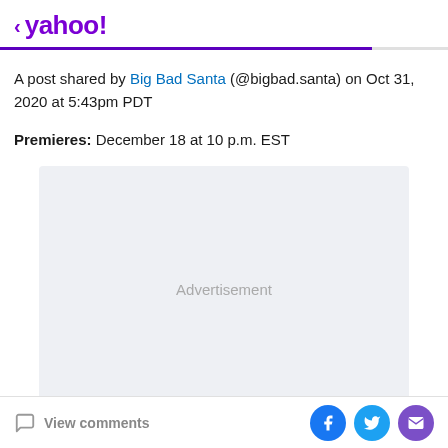< yahoo!
A post shared by Big Bad Santa (@bigbad.santa) on Oct 31, 2020 at 5:43pm PDT
Premieres: December 18 at 10 p.m. EST
[Figure (other): Advertisement placeholder box with light gray background]
View comments | Facebook | Twitter | Email